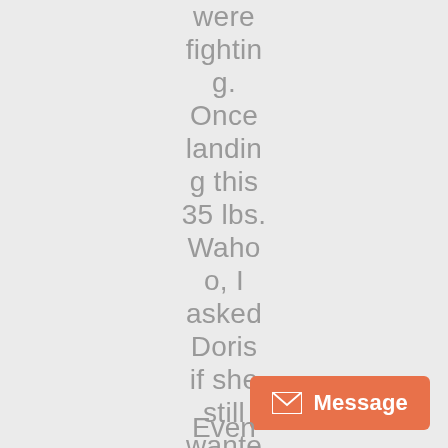were fighting. Once landing this 35 lbs. Wahoo, I asked Doris if she still wanted to go fish for the smaller fish.
[Figure (other): Orange message button with envelope icon and 'Message' label in bottom right corner]
Even